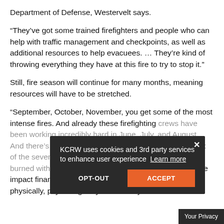Department of Defense, Westervelt says.
“They’ve got some trained firefighters and people who can help with traffic management and checkpoints, as well as additional resources to help evacuees. … They’re kind of throwing everything they have at this fire to try to stop it.”
Still, fire season will continue for many months, meaning resources will have to be stretched.
“September, October, November, you get some of the most intense fires. And already these firefighting crews have been working incredibly hard in June, July, and August. And there’s already a kind of a burnout factor. I mean, six of the seven largest fires in California history have all burned within the last 11 months. … That’s putting a huge impact financially, physically, psychologically on certainly the
[Figure (screenshot): Cookie consent modal overlay on a dark semi-transparent background. Text reads: 'KCRW uses cookies and 3rd party services to enhance user experience Learn more' with OPT-OUT and ACCEPT buttons. A 'Your Privacy' tab appears at bottom right.]